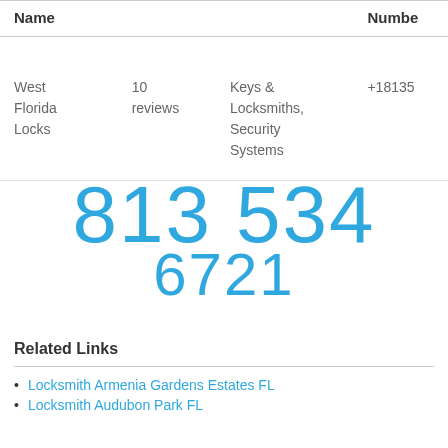| Name |  | Category | Number |
| --- | --- | --- | --- |
| West Florida Locks | 10 reviews | Keys & Locksmiths, Security Systems | +18135 |
[Figure (other): Large overlapping blue phone number digits: 813 534 / 6721 displayed in large decorative text]
Related Links
Locksmith Armenia Gardens Estates FL
Locksmith Audubon Park FL